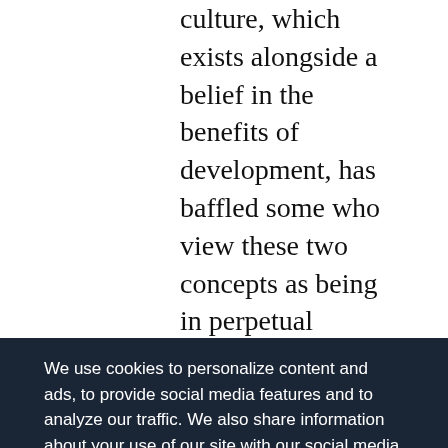culture, which exists alongside a belief in the benefits of development, has baffled some who view these two concepts as being in perpetual conflict. For instance, many young and prosperous Delhiites, eager to make their mark on the world, shun traditions they associate with backwardness and narrow-minded thinking. The foreigners they have encountered have largely been from the business sector. Therefore, they are somewhat surprised that I would want to learn about the legacy of a place like Vrindavan, where the Hindu God Krishna is said to have lived 5,000 years
We use cookies to personalize content and ads, to provide social media features and to analyze our traffic. We also share information about your use of our site with our social media